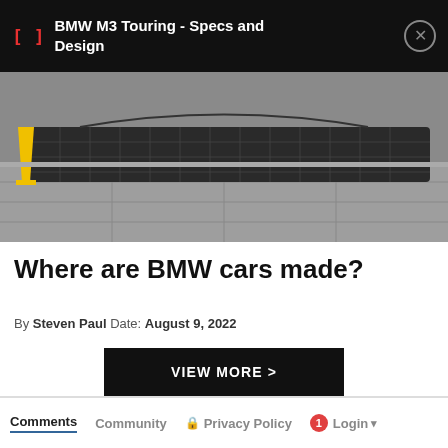BMW M3 Touring - Specs and Design
[Figure (photo): Photo of a dark metal grating speed bump on a gray tiled floor, with a yellow cone visible on the left side.]
Where are BMW cars made?
By Steven Paul Date: August 9, 2022
VIEW MORE >
Comments   Community   Privacy Policy   1  Login